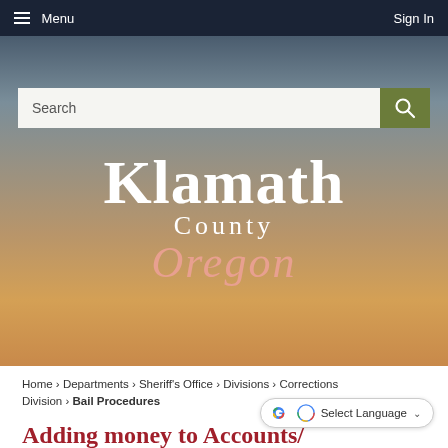Menu   Sign In
[Figure (screenshot): Klamath County Oregon government website hero image with sunset/landscape background, search bar, and county logo]
Home › Departments › Sheriff's Office › Divisions › Corrections Division › Bail Procedures
Adding money to Accounts/ Procedures